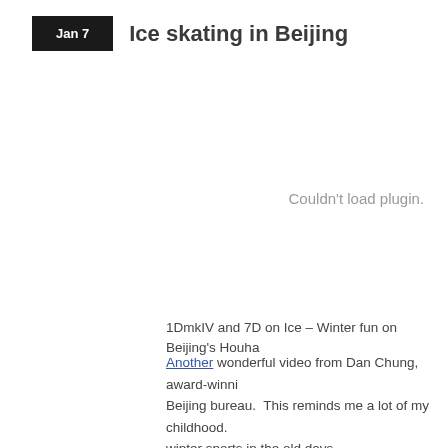Jan 7
Ice skating in Beijing
[Figure (other): Embedded video plugin area showing 'Couldn't load plugin.' message]
1DmkIV and 7D on Ice – Winter fun on Beijing's Houha
Another wonderful video from Dan Chung, award-winning Beijing bureau. This reminds me a lot of my childhood. winter sports in the old days.